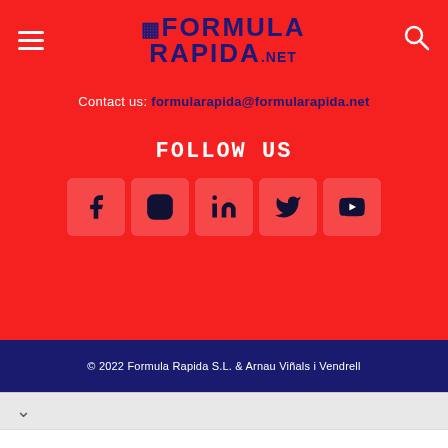[Figure (logo): Formula Rapida .net logo in dark navy on red background with checkered flag icon]
Contact us: formularapida@formularapida.net
FOLLOW US
[Figure (infographic): Five social media icons: Facebook, Instagram, LinkedIn, Twitter, YouTube in rounded square boxes]
© 2022 Formula Rapida S.L. & Arnau Viñals i Vendrell
[Figure (screenshot): Ad section: sweetFrog logo with Dine-in, Takeout, Delivery checkmarks and navigation diamond icon]